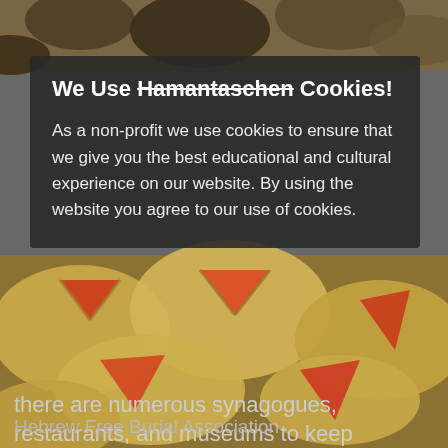[Figure (screenshot): Hamantaschen cookies photo background — dark chocolate and fruit-filled triangular Jewish pastries filling the frame]
We Use Hamantaschen Cookies!
As a non-profit we use cookies to ensure that we give you the best educational and cultural experience on our website. By using the website you agree to our use of cookies.
there are numerous synagogues, restaurants, and museums to keep everyone happy and interested.
Hebrew Free Burial Association